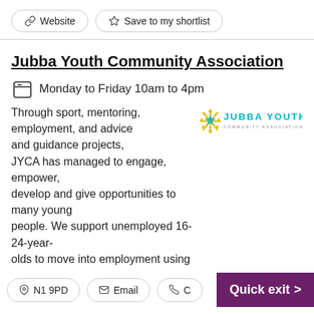Website | Save to my shortlist
Jubba Youth Community Association
Monday to Friday 10am to 4pm
Through sport, mentoring, employment, and advice and guidance projects, JYCA has managed to engage, empower, develop and give opportunities to many young people. We support unemployed 16-24-year-olds to move into employment using the power of sport. As a youth charity, we use football and other...
[Figure (logo): Jubba Youth Community Association logo with star/snowflake icon in yellow and teal, text JUBBA YOUTH in teal, COMMUNITY ASSOCIATION in small gray text]
N1 9PD | Email | Quick exit >